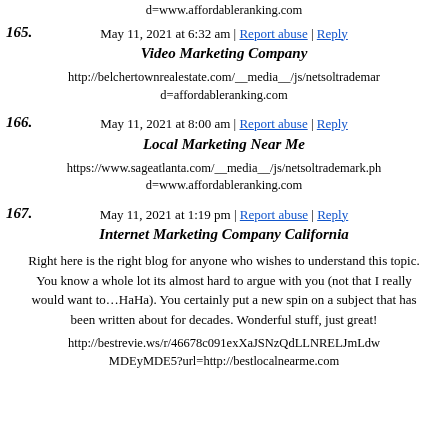d=www.affordableranking.com
165. Video Marketing Company
May 11, 2021 at 6:32 am | Report abuse | Reply
http://belchertownrealestate.com/__media__/js/netsoltrademark.php?d=affordableranking.com
166. Local Marketing Near Me
May 11, 2021 at 8:00 am | Report abuse | Reply
https://www.sageatlanta.com/__media__/js/netsoltrademark.php?d=www.affordableranking.com
167. Internet Marketing Company California
May 11, 2021 at 1:19 pm | Report abuse | Reply
Right here is the right blog for anyone who wishes to understand this topic. You know a whole lot its almost hard to argue with you (not that I really would want to…HaHa). You certainly put a new spin on a subject that has been written about for decades. Wonderful stuff, just great!
http://bestrevie.ws/r/46678c091exXaJSNzQdLLNRELJmLdwMDEyMDE5?url=http://bestlocalnearme.com